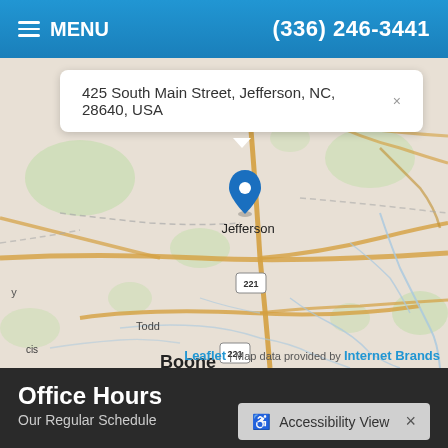≡ MENU   (336) 246-3441
[Figure (map): Map showing Jefferson, NC area with a location pin at 425 South Main Street, Jefferson, NC 28640, USA. Shows roads including routes 221 and 421, nearby areas including Todd and Boone. Map popup shows the address. Attribution: Leaflet | Map data provided by Internet Brands.]
Office Hours
Our Regular Schedule
♿ Accessibility View  ×